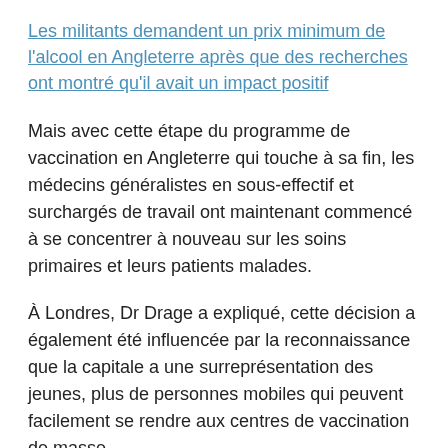Les militants demandent un prix minimum de l'alcool en Angleterre après que des recherches ont montré qu'il avait un impact positif
Mais avec cette étape du programme de vaccination en Angleterre qui touche à sa fin, les médecins généralistes en sous-effectif et surchargés de travail ont maintenant commencé à se concentrer à nouveau sur les soins primaires et leurs patients malades.
À Londres, Dr Drage a expliqué, cette décision a également été influencée par la reconnaissance que la capitale a une surreprésentation des jeunes, plus de personnes mobiles qui peuvent facilement se rendre aux centres de vaccination de masse.
"Ayant utilisé leur proximité géographique et leur relation